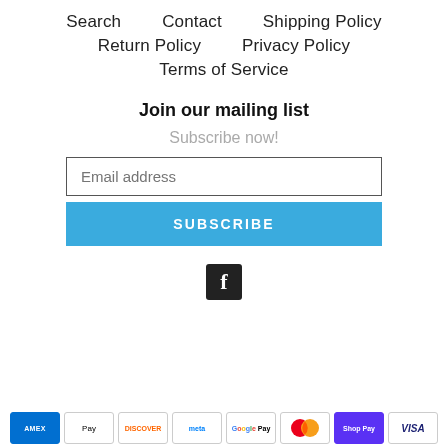Search   Contact   Shipping Policy
Return Policy   Privacy Policy
Terms of Service
Join our mailing list
Subscribe now!
Email address
SUBSCRIBE
[Figure (logo): Facebook social media icon - white 'f' on black square background]
[Figure (other): Row of payment method badges: American Express, Apple Pay, Discover, Meta Pay, Google Pay, Mastercard, Shop Pay, Visa]